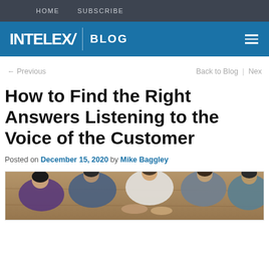HOME  SUBSCRIBE
INTELEX BLOG
← Previous   Back to Blog | Nex
How to Find the Right Answers Listening to the Voice of the Customer
Posted on December 15, 2020 by Mike Baggley
[Figure (photo): Overhead view of a group of people looking down, sitting around a wooden surface]